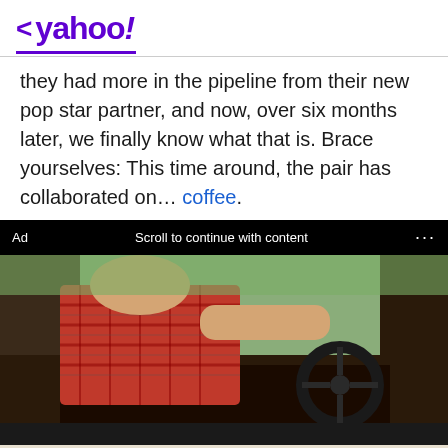< yahoo!
they had more in the pipeline from their new pop star partner, and now, over six months later, we finally know what that is. Brace yourselves: This time around, the pair has collaborated on... coffee.
[Figure (screenshot): Ad bar showing 'Ad', 'Scroll to continue with content', and '...' on black background, followed by a photo of a person in a red plaid shirt driving a car, and a dark bar at the bottom.]
Uber
Ganancias Garantizadas
Gana según tu propio horario. Ve cuánto